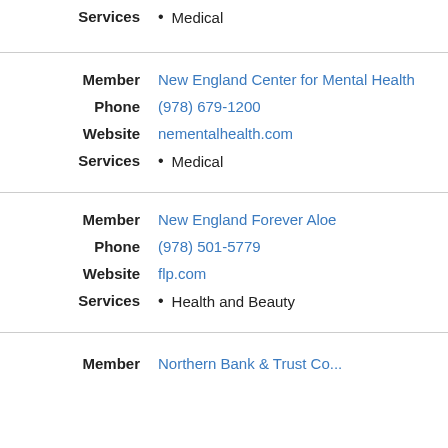Services • Medical
Member: New England Center for Mental Health
Phone: (978) 679-1200
Website: nementalhealth.com
Services • Medical
Member: New England Forever Aloe
Phone: (978) 501-5779
Website: flp.com
Services • Health and Beauty
Member: Northern Bank & Trust Co...